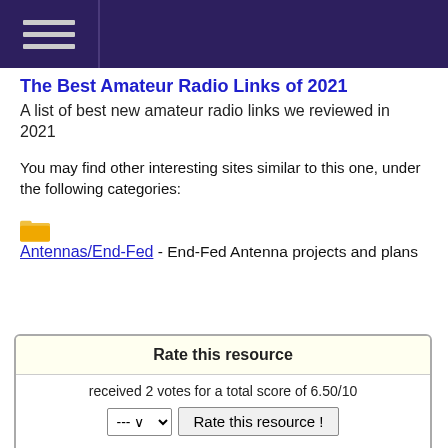The Best Amateur Radio Links of 2021
A list of best new amateur radio links we reviewed in 2021
You may find other interesting sites similar to this one, under the following categories:
🗂 Antennas/End-Fed - End-Fed Antenna projects and plans
Rate this resource
received 2 votes for a total score of 6.50/10
The scale is 1 - 10, with 1 being poor and 10 being excellent.